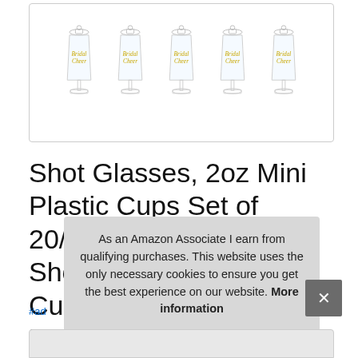[Figure (photo): Row of five clear plastic shot glasses with gold script text reading 'Bridal Cheer', displayed in a product listing image box with rounded border]
Shot Glasses, 2oz Mini Plastic Cups Set of 20/Shatterproof Party Shots/Reusable Plastic Cups/Perfect for Bachelor Wedding Party and Bridal Shower Decorations
#ad
As an Amazon Associate I earn from qualifying purchases. This website uses the only necessary cookies to ensure you get the best experience on our website. More information